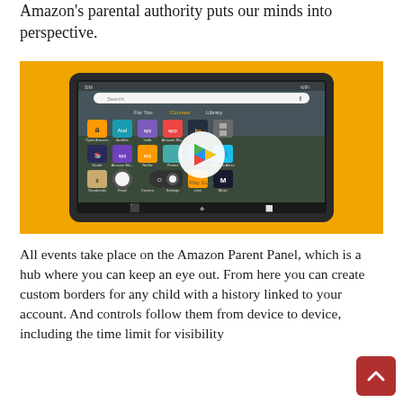Amazon's parental authority puts our minds into perspective.
[Figure (screenshot): Amazon Fire tablet on orange background showing app grid with Play Store popup]
All events take place on the Amazon Parent Panel, which is a hub where you can keep an eye out. From here you can create custom borders for any child with a history linked to your account. And controls follow them from device to device, including the time limit for visibility